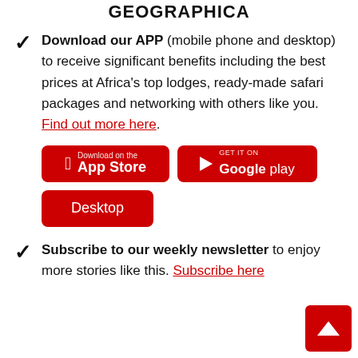GEOGRAPHICA
Download our APP (mobile phone and desktop) to receive significant benefits including the best prices at Africa's top lodges, ready-made safari packages and networking with others like you. Find out more here.
Subscribe to our weekly newsletter to enjoy more stories like this. Subscribe here